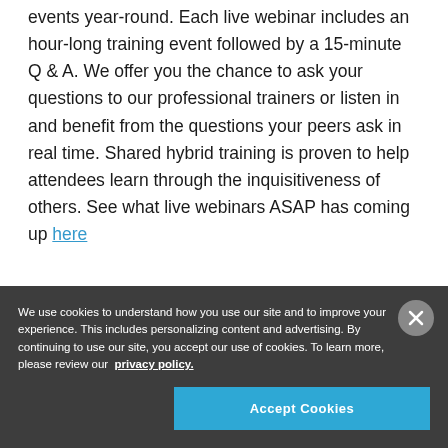events year-round. Each live webinar includes an hour-long training event followed by a 15-minute Q & A. We offer you the chance to ask your questions to our professional trainers or listen in and benefit from the questions your peers ask in real time. Shared hybrid training is proven to help attendees learn through the inquisitiveness of others. See what live webinars ASAP has coming up here
We use cookies to understand how you use our site and to improve your experience. This includes personalizing content and advertising. By continuing to use our site, you accept our use of cookies. To learn more, please review our privacy policy.